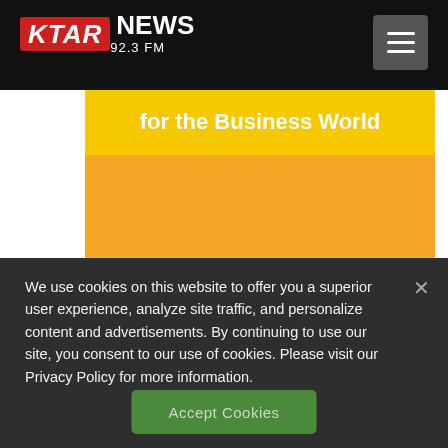KTAR NEWS 92.3 FM
[Figure (screenshot): Partial banner image showing text 'for the Business World' on a yellow/orange background]
We use cookies on this website to offer you a superior user experience, analyze site traffic, and personalize content and advertisements. By continuing to use our site, you consent to our use of cookies. Please visit our Privacy Policy for more information.
Accept Cookies